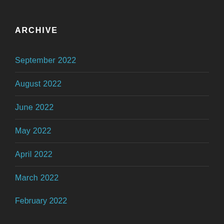ARCHIVE
September 2022
August 2022
June 2022
May 2022
April 2022
March 2022
February 2022